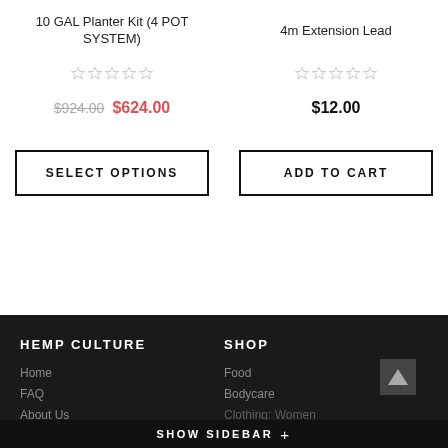10 GAL Planter Kit (4 POT SYSTEM)
4m Extension Lead
$924.00  $624.00
$12.00
SELECT OPTIONS
ADD TO CART
HEMP CULTURE
SHOP
Home
FAQ
About Us
Food
Bodycare
Clothing: Women
SHOW SIDEBAR +